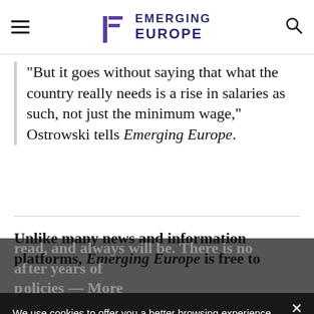Emerging Europe
"But it goes without saying that what the country really needs is a rise in salaries as such, not just the minimum wage," Ostrowski tells Emerging Europe.
Unlike many news and information platforms, Emerging Europe is free to read, and always will be. There is no [subscription fee, no paywall. After years of] best [efforts, we believe the most] amazing region.
We use cookies to offer you a better browsing experience, analyze site traffic, personalize content, and serve targeted advertisements. Read about how we use cookies and how you can control them by clicking "Privacy Preferences". If you continue to use this site, you consent to our use of cookies. More...